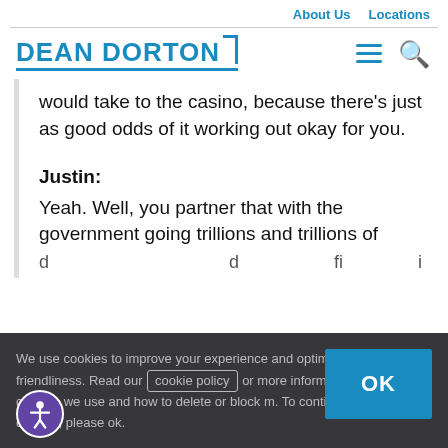About Us   Locations
[Figure (logo): Dean Dorton logo in blue with bracket accent]
would take to the casino, because there's just as good odds of it working out okay for you.
Justin:
Yeah. Well, you partner that with the government going trillions and trillions of dollars further into debt it definitely is...
We use cookies to improve your experience and optimize user-friendliness. Read our cookie policy or more information on the cookies we use and how to delete or block them. To continue browsing our site, please click ok.